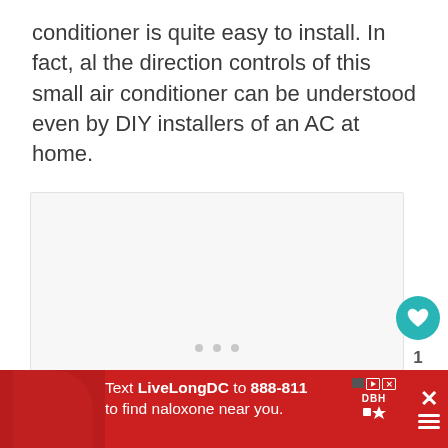conditioner is quite easy to install. In fact, al the direction controls of this small air conditioner can be understood even by DIY installers of an AC at home.
[Figure (other): A large placeholder image area with a light gray background, with three small gray dots at the bottom center indicating an image carousel or loading state. Social interaction buttons (heart/favorite, share) are overlaid on the right side.]
[Figure (infographic): Red advertisement banner at bottom: 'Text LiveLongDC to 888-811 to find naloxone near you.' with DBH logo and a close button.]